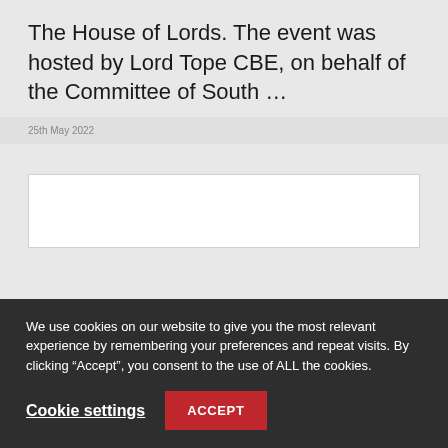The House of Lords. The event was hosted by Lord Tope CBE, on behalf of the Committee of South …
25th May 2022
[Figure (other): White rectangular content box placeholder]
We use cookies on our website to give you the most relevant experience by remembering your preferences and repeat visits. By clicking “Accept”, you consent to the use of ALL the cookies.
Cookie settings
ACCEPT